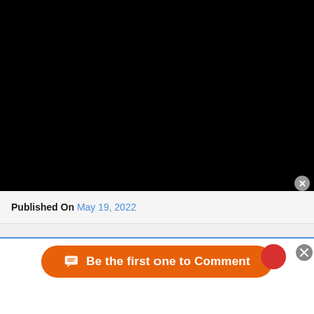[Figure (screenshot): Black video player area occupying the top portion of the page]
Published On May 19, 2022
Be the first one to Comment